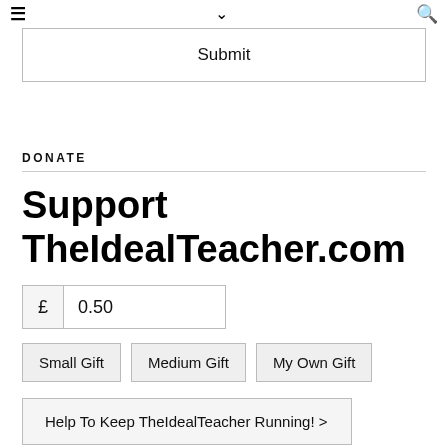≡  ∨  🔍
Submit
DONATE
Support TheIdealTeacher.com
£  0.50
Small Gift
Medium Gift
My Own Gift
Help To Keep TheIdealTeacher Running! >